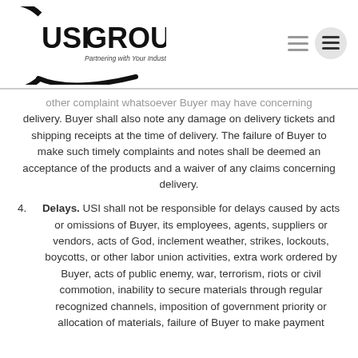[Figure (logo): USI Groups logo with text 'Partnering with Your Industry to Repair - Protect - Upgrade']
other complaint whatsoever Buyer may have concerning delivery. Buyer shall also note any damage on delivery tickets and shipping receipts at the time of delivery. The failure of Buyer to make such timely complaints and notes shall be deemed an acceptance of the products and a waiver of any claims concerning delivery.
4. Delays. USI shall not be responsible for delays caused by acts or omissions of Buyer, its employees, agents, suppliers or vendors, acts of God, inclement weather, strikes, lockouts, boycotts, or other labor union activities, extra work ordered by Buyer, acts of public enemy, war, terrorism, riots or civil commotion, inability to secure materials through regular recognized channels, imposition of government priority or allocation of materials, failure of Buyer to make payment